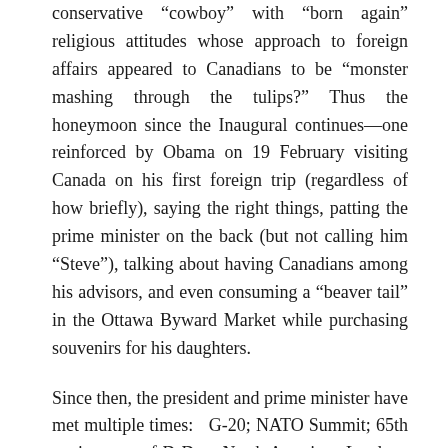conservative “cowboy” with “born again” religious attitudes whose approach to foreign affairs appeared to Canadians to be “monster mashing through the tulips?” Thus the honeymoon since the Inaugural continues—one reinforced by Obama on 19 February visiting Canada on his first foreign trip (regardless of how briefly), saying the right things, patting the prime minister on the back (but not calling him “Steve”), talking about having Canadians among his advisors, and even consuming a “beaver tail” in the Ottawa Byward Market while purchasing souvenirs for his daughters.
Since then, the president and prime minister have met multiple times: G-20; NATO Summit; 65th anniversary of D-Day; North American Leaders; and a 16 September White House bilateral after another